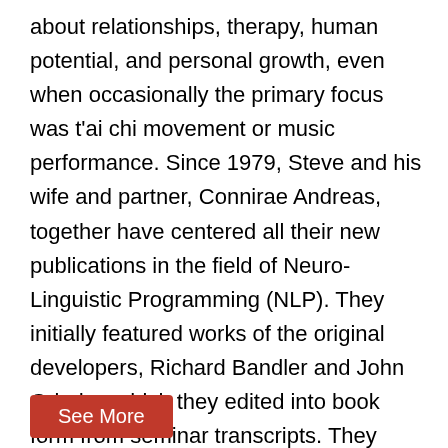about relationships, therapy, human potential, and personal growth, even when occasionally the primary focus was t’ai chi movement or music performance. Since 1979, Steve and his wife and partner, Connirae Andreas, together have centered all their new publications in the field of Neuro-Linguistic Programming (NLP). They initially featured works of the original developers, Richard Bandler and John Grinder, which they edited into book form from seminar transcripts. They continue adding original works by those who have extended NLP in unique and useful ways.
See More